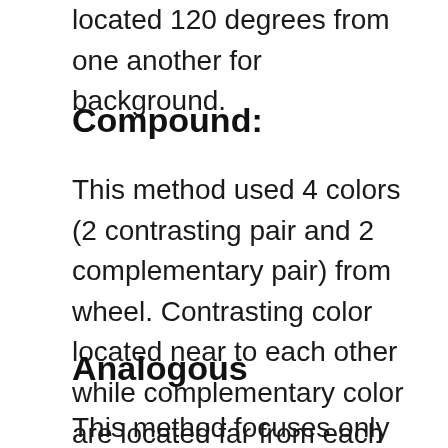located 120 degrees from one another for background.
Compound:
This method used 4 colors (2 contrasting pair and 2 complementary pair) from wheel. Contrasting color located near to each other while complementary color are located far from each other. But this method need experience for being perfect.
Analogous
This method focuses only on complementary colors. The chosen color may exaggerate. And